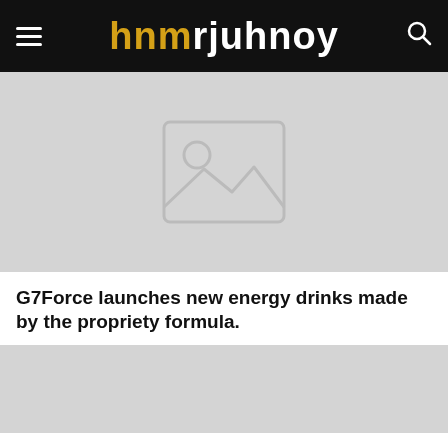hnmrjuhnoy
[Figure (photo): Placeholder image with mountain/landscape icon on grey background]
G7Force launches new energy drinks made by the propriety formula.
[Figure (photo): Second placeholder image block at bottom of page]